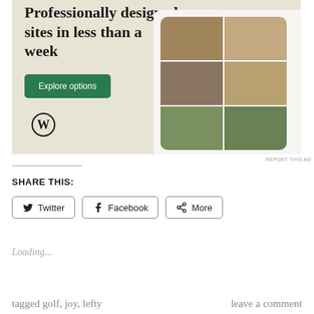[Figure (screenshot): WordPress advertisement banner showing 'Professionally designed sites in less than a week' with an Explore options button, WordPress logo, and website mockup screenshots of a food/restaurant site on mobile]
REPORT THIS AD
SHARE THIS:
Twitter
Facebook
More
Loading...
tagged golf, joy, lefty
leave a comment